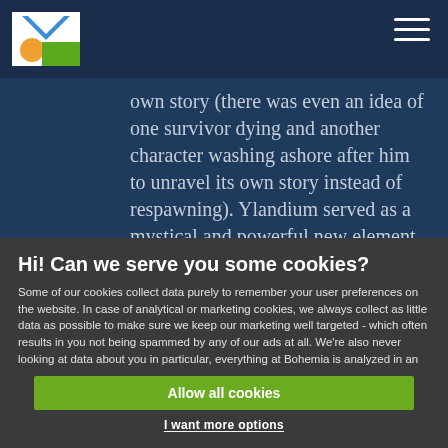Ylandium website navigation bar with logo
own story (there was even an idea of one survivor dying and another character washing ashore after him to unravel its own story instead of respawning). Ylandium served as a mystical and powerful new element with its distinctive glowing green. The game seemed to be themed around
Hi! Can we serve you some cookies?
Some of our cookies collect data purely to remember your user preferences on the website. In case of analytical or marketing cookies, we always collect as little data as possible to make sure we keep our marketing well targeted - which often results in you not being spammed by any of our ads at all. We're also never looking at data about you in particular, everything at Bohemia is analyzed in an aggregated form. Learn more
Allow all cookies
I want more options